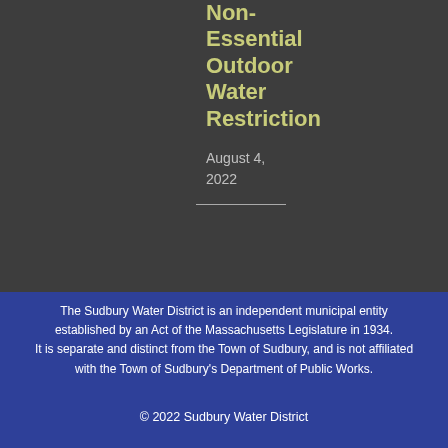Mandatory Non-Essential Outdoor Water Restriction
August 4, 2022
The Sudbury Water District is an independent municipal entity established by an Act of the Massachusetts Legislature in 1934. It is separate and distinct from the Town of Sudbury, and is not affiliated with the Town of Sudbury's Department of Public Works.
© 2022 Sudbury Water District